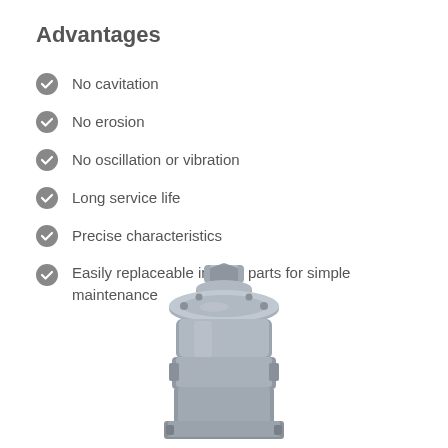Advantages
No cavitation
No erosion
No oscillation or vibration
Long service life
Precise characteristics
Easily replaceable interior parts for simple maintenance
[Figure (photo): Industrial hydraulic motor/pump component shown from above, gray metal, with a cylindrical shaft on top and flanged housing below]